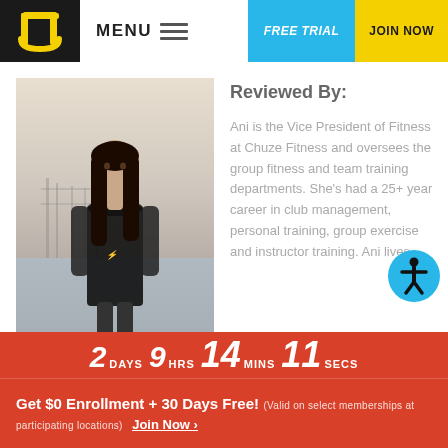MENU | FREE TRIAL | JOIN NOW
[Figure (photo): Woman with long dark hair standing on a beach/waterfront in a black sleeveless top, with a pier visible in the background]
Reviewed By:
Ani is the Vice President of Fitness at Chuze Fitness and oversees the group fitness and team training departments. She's had a 25+ year career in club management, personal training, group exercise and instructor training. Ani lives
2 DAYS 9 HRS 14 MINS 11 SECS
Get $0 Enrollment + 30 Days Free! (Valid on select memberships at participating locations) Join Now >